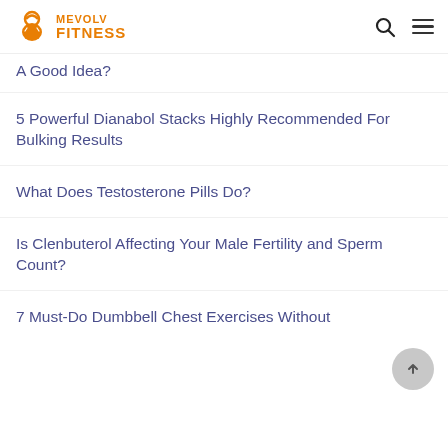MEVOLV FITNESS
A Good Idea?
5 Powerful Dianabol Stacks Highly Recommended For Bulking Results
What Does Testosterone Pills Do?
Is Clenbuterol Affecting Your Male Fertility and Sperm Count?
7 Must-Do Dumbbell Chest Exercises Without